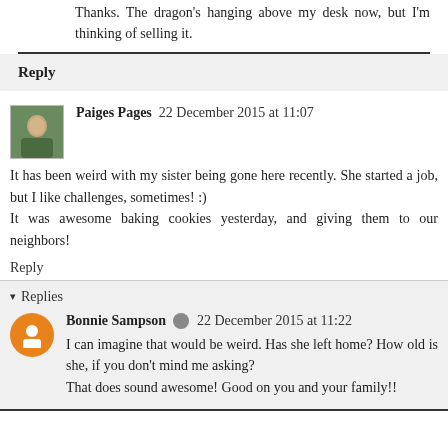Thanks. The dragon's hanging above my desk now, but I'm thinking of selling it.
Reply
Paiges Pages  22 December 2015 at 11:07
It has been weird with my sister being gone here recently. She started a job, but I like challenges, sometimes! :)
It was awesome baking cookies yesterday, and giving them to our neighbors!
Reply
Replies
Bonnie Sampson  22 December 2015 at 11:22
I can imagine that would be weird. Has she left home? How old is she, if you don't mind me asking?
That does sound awesome! Good on you and your family!!